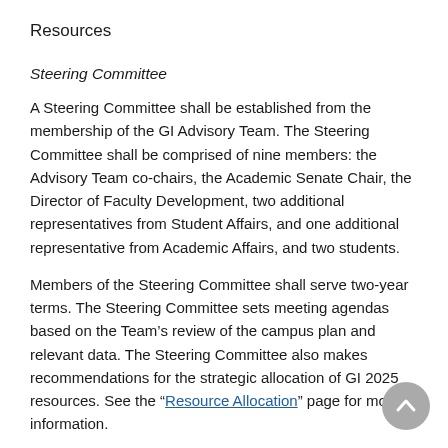Resources
Steering Committee
A Steering Committee shall be established from the membership of the GI Advisory Team. The Steering Committee shall be comprised of nine members: the Advisory Team co-chairs, the Academic Senate Chair, the Director of Faculty Development, two additional representatives from Student Affairs, and one additional representative from Academic Affairs, and two students.
Members of the Steering Committee shall serve two-year terms. The Steering Committee sets meeting agendas based on the Team's review of the campus plan and relevant data. The Steering Committee also makes recommendations for the strategic allocation of GI 2025 resources. See the “Resource Allocation” page for more information.